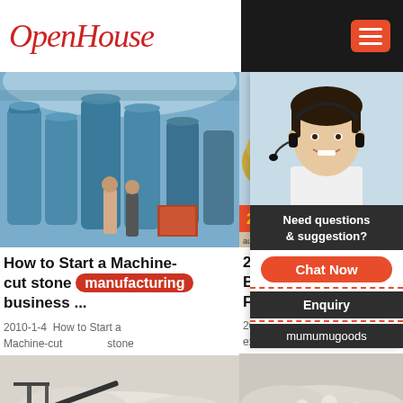OpenHouse
[Figure (photo): Industrial factory interior with large blue cylindrical machines and two workers]
How to Start a Machine-cut stone manufacturing business ...
2010-1-4  How to Start a Machine-cut stone
[Figure (photo): Outdoor industrial site with large machinery and stone materials]
21 Most Pro Businesses i Fincyte
2021-2-7  He expected that
[Figure (photo): White stone/gravel material with construction equipment]
[Figure (photo): White stone/gravel material outdoor]
24Hrs Online
[Figure (photo): Customer service agent woman wearing headset, smiling]
Need questions & suggestion?
Chat Now
Enquiry
mumumugoods